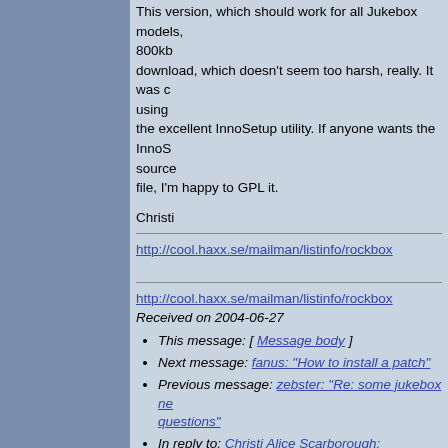This version, which should work for all Jukebox models, 800kb download, which doesn't seem too harsh, really. It was c using the excellent InnoSetup utility. If anyone wants the InnoS source file, I'm happy to GPL it.

Christi
http://cool.haxx.se/mailman/listinfo/rockbox
http://cool.haxx.se/mailman/listinfo/rockbox
Received on 2004-06-27
This message: [ Message body ]
Next message: fanus: "How to install a patch"
Previous message: zebster: "Re: some jukebox ne questions"
In reply to: Christi Alice Scarborough: "Announcen Rockbox installer for Windows"
Contemporary messages sorted: [ by date ] [ by th by subject ] [ by author ] [ by messages with attac
Page template was last modified "Tue Sep 7 00:00:02 2021" The Ro Crew -- Privacy Policy